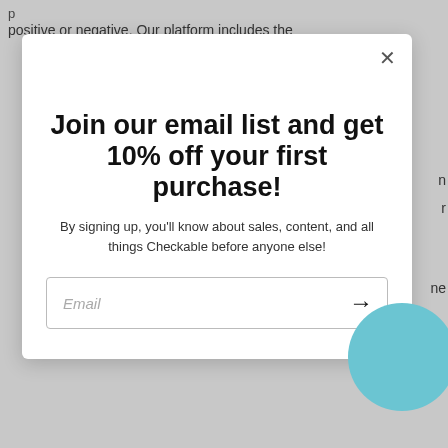positive or negative. Our platform includes the
[Figure (screenshot): Email signup popup modal with close button (X), bold headline 'Join our email list and get 10% off your first purchase!', subtitle text, email input field with arrow, and a teal circle partially visible at bottom-right corner.]
Join our email list and get 10% off your first purchase!
By signing up, you'll know about sales, content, and all things Checkable before anyone else!
Email